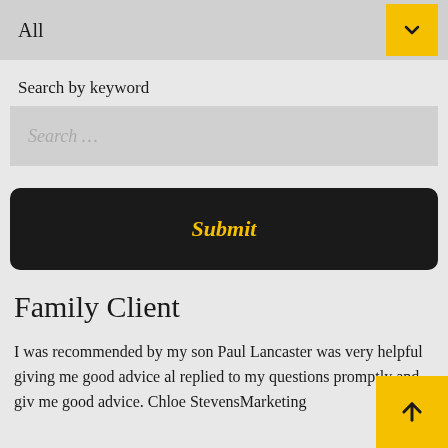All
Search by keyword
Search …
Submit
Family Client
I was recommended by my son Paul Lancaster was very helpful giving me good advice al replied to my questions promptly and giv me good advice. Chloe StevensMarketing